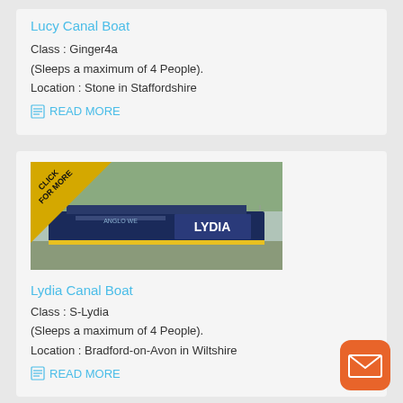Lucy Canal Boat
Class : Ginger4a
(Sleeps a maximum of 4 People).
Location : Stone in Staffordshire
READ MORE
[Figure (photo): Photo of Lydia canal boat moored at a marina with a yellow 'CLICK FOR MORE' corner badge]
Lydia Canal Boat
Class : S-Lydia
(Sleeps a maximum of 4 People).
Location : Bradford-on-Avon in Wiltshire
READ MORE
[Figure (photo): Photo of a green canal boat on a waterway with a yellow 'Click for more' corner badge]